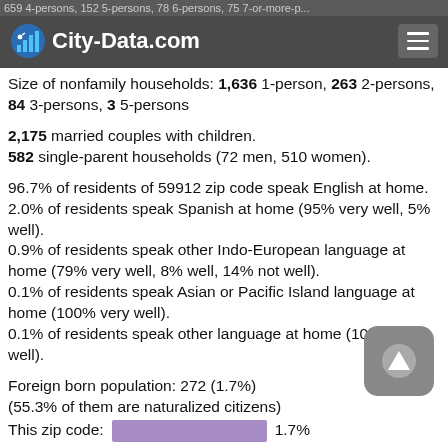City-Data.com
Size of nonfamily households: 1,636 1-person, 263 2-persons, 84 3-persons, 3 5-persons
2,175 married couples with children.
582 single-parent households (72 men, 510 women).
96.7% of residents of 59912 zip code speak English at home.
2.0% of residents speak Spanish at home (95% very well, 5% well).
0.9% of residents speak other Indo-European language at home (79% very well, 8% well, 14% not well).
0.1% of residents speak Asian or Pacific Island language at home (100% very well).
0.1% of residents speak other language at home (100% very well).
Foreign born population: 272 (1.7%)
(55.3% of them are naturalized citizens)
This zip code:  [bar] 1.7%